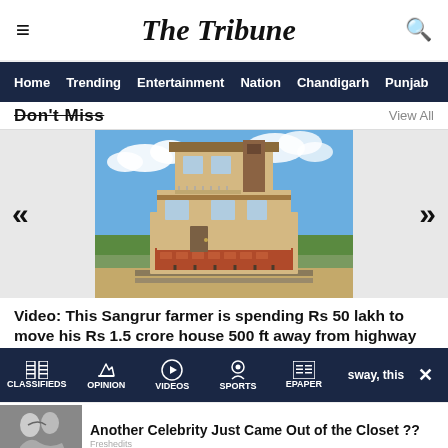The Tribune
Home  Trending  Entertainment  Nation  Chandigarh  Punjab
Don't Miss  View All
[Figure (photo): A modern multi-story house being moved on a set of rails/rollers at a construction site, with a blue sky and clouds in the background. Left and right carousel navigation arrows are visible.]
Video: This Sangrur farmer is spending Rs 50 lakh to move his Rs 1.5 crore house 500 ft away from highway
CLASSIFIEDS  OPINION  VIDEOS  SPORTS  EPAPER
Another Celebrity Just Came Out of the Closet ??
Freshedits